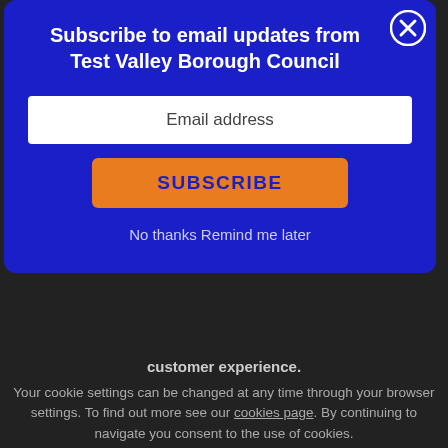Subscribe to email updates from Test Valley Borough Council
Email address
SUBSCRIBE
No thanks Remind me later
customer experience.
Your cookie settings can be changed at any time through your browser settings. To find out more see our cookies page. By continuing to navigate you consent to the use of cookies.
✓ OK, I understand